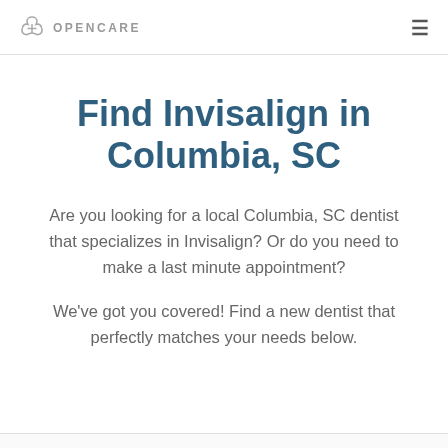OPENCARE
Find Invisalign in Columbia, SC
Are you looking for a local Columbia, SC dentist that specializes in Invisalign? Or do you need to make a last minute appointment?
We've got you covered! Find a new dentist that perfectly matches your needs below.